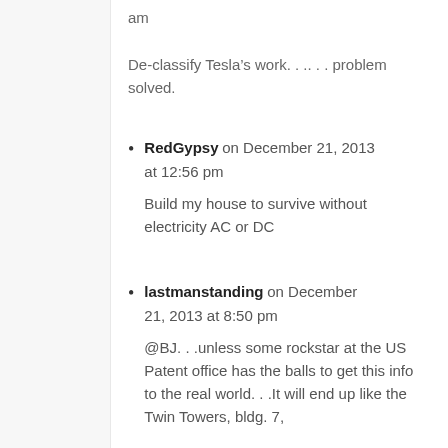am

De-classify Tesla’s work. . .. . . problem solved.
RedGypsy on December 21, 2013 at 12:56 pm

Build my house to survive without electricity AC or DC
lastmanstanding on December 21, 2013 at 8:50 pm

@BJ. . .unless some rockstar at the US Patent office has the balls to get this info to the real world. . .It will end up like the Twin Towers, bldg. 7,